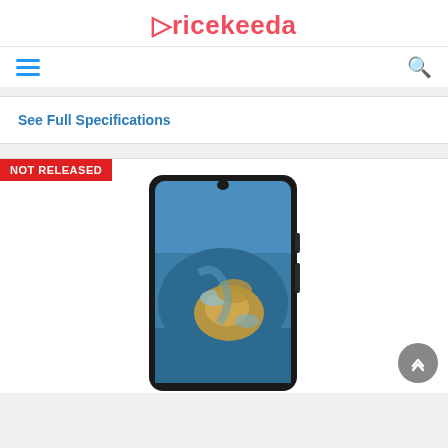Pricekeeda
See Full Specifications
NOT RELEASED
[Figure (photo): Smartphone with a teardrop notch display showing a colorful aerial landscape wallpaper (island/sandbar from above), dark frame, side buttons visible.]